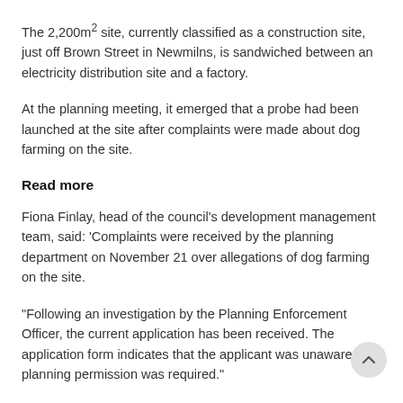The 2,200m² site, currently classified as a construction site, just off Brown Street in Newmilns, is sandwiched between an electricity distribution site and a factory.
At the planning meeting, it emerged that a probe had been launched at the site after complaints were made about dog farming on the site.
Read more
Fiona Finlay, head of the council's development management team, said: 'Complaints were received by the planning department on November 21 over allegations of dog farming on the site.
“Following an investigation by the Planning Enforcement Officer, the current application has been received. The application form indicates that the applicant was unaware that planning permission was required.”
Council officers recommended that the application be denied because no noise impact study had been provided and the development was